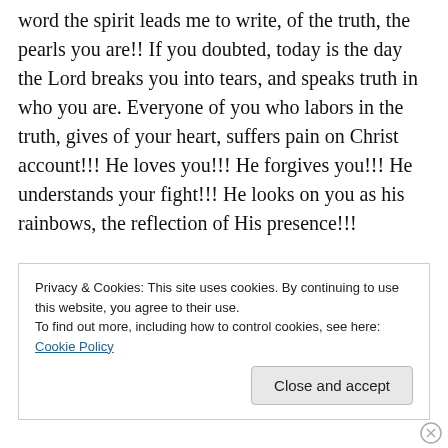word the spirit leads me to write, of the truth, the pearls you are!! If you doubted, today is the day the Lord breaks you into tears, and speaks truth in who you are. Everyone of you who labors in the truth, gives of your heart, suffers pain on Christ account!!! He loves you!!! He forgives you!!! He understands your fight!!! He looks on you as his rainbows, the reflection of His presence!!!
Have I got your attention!!!! Let us together in this moment stop!!! Praise Him!!! He is awesome isn't He? The ways He delivers the word in due season!!! I know because He is touching my heart in a glorious surprise, in the truth and
Privacy & Cookies: This site uses cookies. By continuing to use this website, you agree to their use.
To find out more, including how to control cookies, see here: Cookie Policy